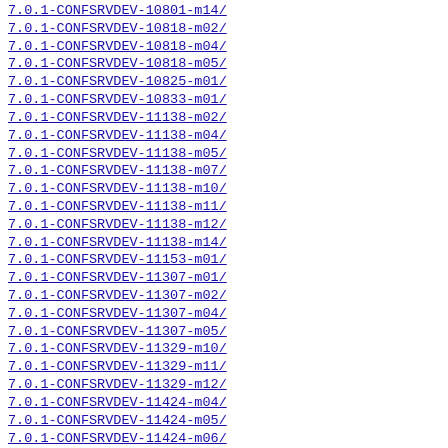7.0.1-CONFSRVDEV-10801-m14/
7.0.1-CONFSRVDEV-10818-m02/
7.0.1-CONFSRVDEV-10818-m04/
7.0.1-CONFSRVDEV-10818-m05/
7.0.1-CONFSRVDEV-10825-m01/
7.0.1-CONFSRVDEV-10833-m01/
7.0.1-CONFSRVDEV-11138-m02/
7.0.1-CONFSRVDEV-11138-m04/
7.0.1-CONFSRVDEV-11138-m05/
7.0.1-CONFSRVDEV-11138-m07/
7.0.1-CONFSRVDEV-11138-m10/
7.0.1-CONFSRVDEV-11138-m11/
7.0.1-CONFSRVDEV-11138-m12/
7.0.1-CONFSRVDEV-11138-m14/
7.0.1-CONFSRVDEV-11153-m01/
7.0.1-CONFSRVDEV-11307-m01/
7.0.1-CONFSRVDEV-11307-m02/
7.0.1-CONFSRVDEV-11307-m04/
7.0.1-CONFSRVDEV-11307-m05/
7.0.1-CONFSRVDEV-11329-m10/
7.0.1-CONFSRVDEV-11329-m11/
7.0.1-CONFSRVDEV-11329-m12/
7.0.1-CONFSRVDEV-11424-m04/
7.0.1-CONFSRVDEV-11424-m05/
7.0.1-CONFSRVDEV-11424-m06/
7.0.1-CONFSRVDEV-11424-m197/
7.0.1-CONFSRVDEV-11424-m198/
7.0.1-CONFSRVDEV-11424-m19801/
7.0.1-CONFSRVDEV-11474-m01/
7.0.1-CONFSRVDEV-11474-m03/
7.0.1-CONFSRVDEV-11474-m08/